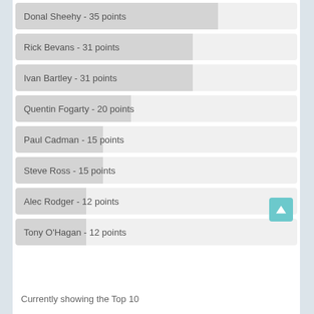[Figure (bar-chart): Top 10 Leaderboard]
Currently showing the Top 10